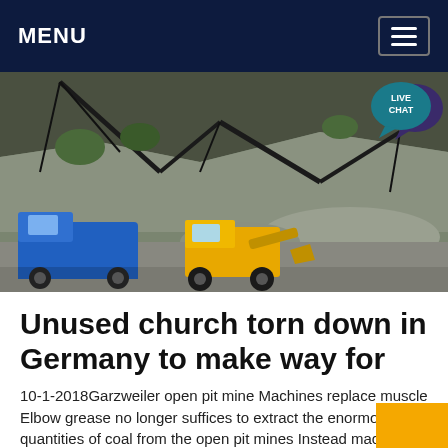MENU
[Figure (photo): A coal open pit mine scene showing a blue dump truck and a yellow front loader/bulldozer operating on a gravel/coal pit area, with conveyor structures and rocky hillside in background. Garzweiler open pit mine.]
Unused church torn down in Germany to make way for
10-1-2018Garzweiler open pit mine Machines replace muscle Elbow grease no longer suffices to extract the enormous quantities of coal from the open pit mines Instead machines carry out the work, with the help of just